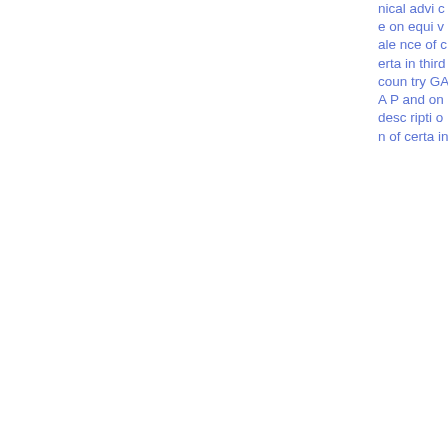nical advice on equivalence of certain third country GAAP and on description of certa in
Paper
23.85 KB